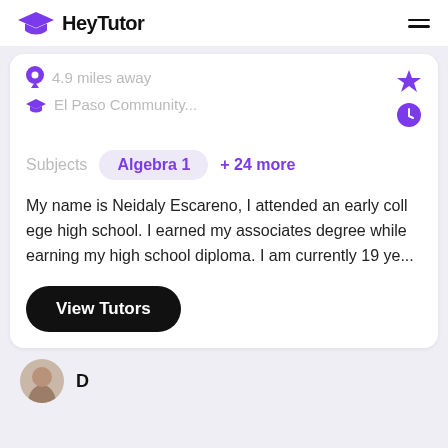HeyTutor
4.9 miles away
El Paso Community...
Subjects   Algebra 1   + 24 more
My name is Neidaly Escareno, I attended an early college high school. I earned my associates degree while earning my high school diploma. I am currently 19 ye...
View Tutors